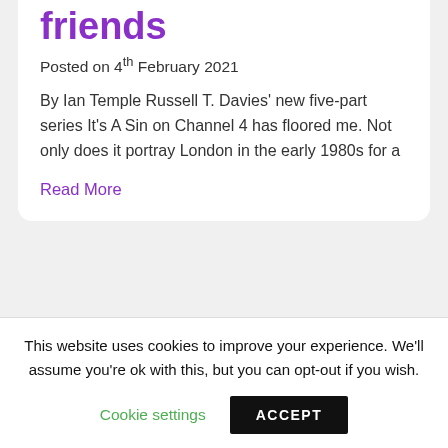friends
Posted on 4th February 2021
By Ian Temple Russell T. Davies' new five-part series It's A Sin on Channel 4 has floored me. Not only does it portray London in the early 1980s for a
Read More
[Figure (logo): Soho Radio logo with rainbow pride flags on either side]
Soho Radio –
This website uses cookies to improve your experience. We'll assume you're ok with this, but you can opt-out if you wish.
Cookie settings  ACCEPT